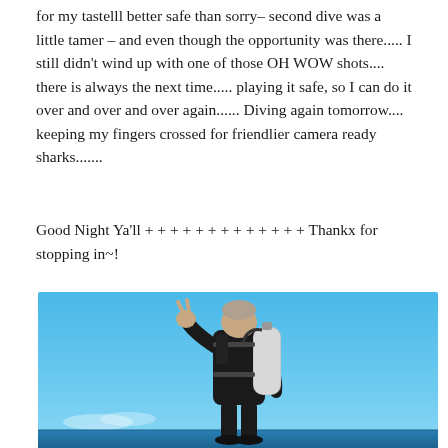for my tastelll better safe than sorry– second dive was a little tamer – and even though the opportunity was there..... I still didn't wind up with one of those OH WOW shots.... there is always the next time..... playing it safe, so I can do it over and over and over again...... Diving again tomorrow.... keeping my fingers crossed for friendlier camera ready sharks.......
Good Night Ya'll + + + + + + + + + + + + + Thankx for stopping in~!
[Figure (photo): A scuba diver in a black wetsuit with a silver air tank on their back, making a hand gesture (peace/OK sign), photographed from behind/side against a bright blue sky and ocean horizon.]